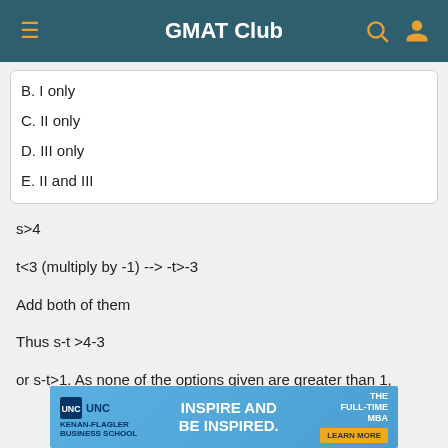GMAT Club
B. I only
C. II only
D. III only
E. II and III
s>4
t<3 (multiply by -1) --> -t>-3
Add both of them
Thus s-t >4-3
or s-t>1. As none of the options given are greater than 1,
[Figure (other): UNC Kenan-Flagler Business School advertisement banner reading INSPIRE AND BE INSPIRED with LEARN MORE button]